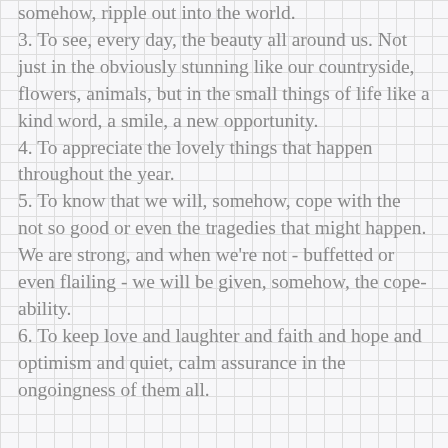somehow, ripple out into the world.
3. To see, every day, the beauty all around us. Not just in the obviously stunning like our countryside, flowers, animals, but in the small things of life like a kind word, a smile, a new opportunity.
4. To appreciate the lovely things that happen throughout the year.
5. To know that we will, somehow, cope with the not so good or even the tragedies that might happen.
We are strong, and when we're not - buffetted or even flailing - we will be given, somehow, the cope-ability.
6. To keep love and laughter and faith and hope and optimism and quiet, calm assurance in the ongoingness of them all.